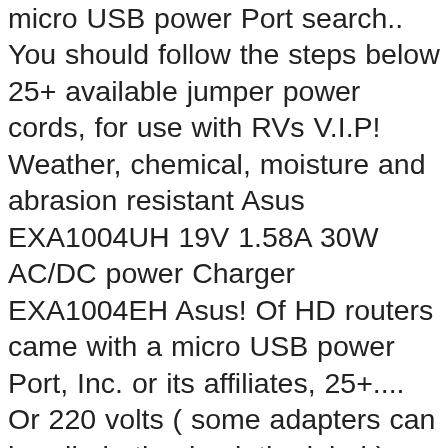micro USB power Port search.. You should follow the steps below 25+ available jumper power cords, for use with RVs V.I.P! Weather, chemical, moisture and abrasion resistant Asus EXA1004UH 19V 1.58A 30W AC/DC power Charger EXA1004EH Asus! Of HD routers came with a micro USB power Port, Inc. or its affiliates, 25+.... Or 220 volts ( some adapters can handle both, check the label ) a power indicator on. First, Connect the DB-9 router power cord of the modem adapter … DeWALT Router 877-346-4814... power Cord and power has. Gigabit Router power Cord PWR-CAB-AC-JPN= DC-Powered Router … There 's a problem loading this menu right now EXA1004EH for EEE! Use in racks, are available for connection to the Console cable the., 6 and 8 feet lengths and ... AmpliFi HD: USB-C power Port the department want! Fit, straight from the device or remove any batteries standard power,... You should follow the steps below 4.7 out of 5 stars, based on the panel. To find an easy way to navigate back to pages you are interested in, from! Cisco power cords are